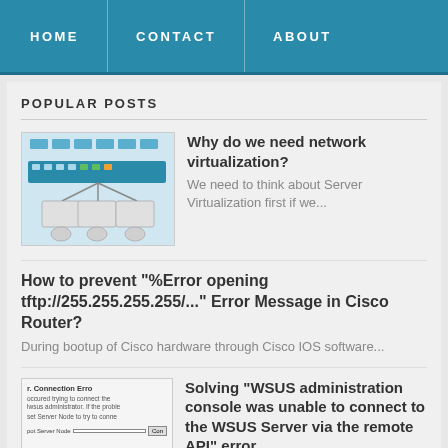HOME  CONTACT  ABOUT
POPULAR POSTS
Why do we need network virtualization?
We need to think about Server Virtualization first if we...
How to prevent "%Error opening tftp://255.255.255.255/..." Error Message in Cisco Router?
During bootup of Cisco hardware through Cisco IOS software...
Solving "WSUS administration console was unable to connect to the WSUS Server via the remote API" error
Today, I've got below when I try to connect my WSUS Server...
Solving the "A general system error occured:Invalid fault" error in vSphere 4